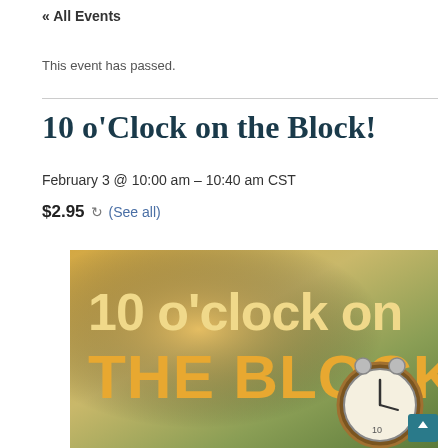« All Events
This event has passed.
10 o'Clock on the Block!
February 3 @ 10:00 am - 10:40 am CST
$2.95  ↻ (See all)
[Figure (photo): Promotional image for '10 o'clock on THE BLOCK' event showing large text overlay on a warm golden/green background with an alarm clock in the lower right corner.]